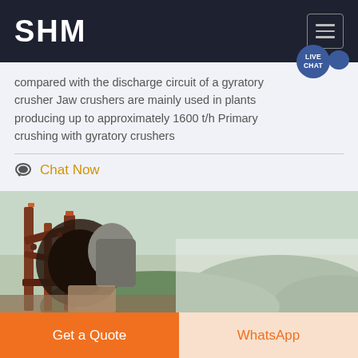SHM
compared with the discharge circuit of a gyratory crusher Jaw crushers are mainly used in plants producing up to approximately 1600 t/h Primary crushing with gyratory crushers
Chat Now
[Figure (photo): Close-up photograph of a large industrial crusher machine, rusty red/orange steel structure, with green hills and trees visible in the background.]
Get a Quote
WhatsApp